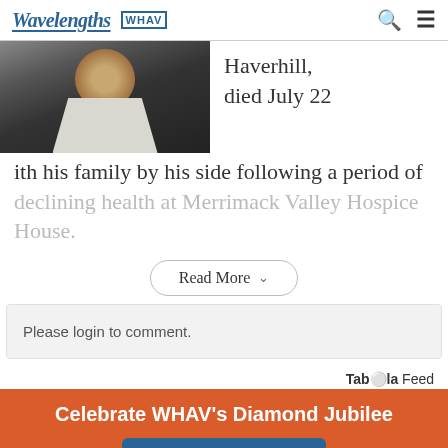Wavelengths | WHAV
[Figure (photo): Portrait photo of a man in a dark suit and tie, cropped showing the lower portion of his face and torso]
Haverhill, died July 22
ith his family by his side following a period of declining health at Merrimack Valley Hospice House.
Read More
Please login to comment.
Taboola Feed
Celebrate WHAV's Diamond Jubilee
Show More